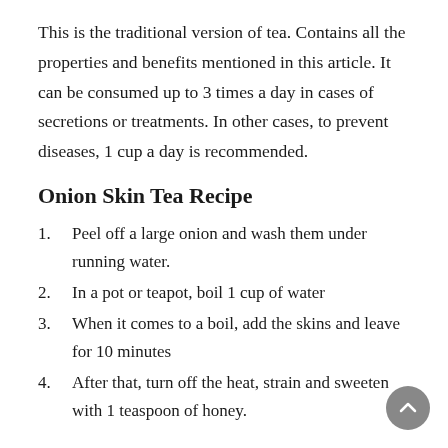This is the traditional version of tea. Contains all the properties and benefits mentioned in this article. It can be consumed up to 3 times a day in cases of secretions or treatments. In other cases, to prevent diseases, 1 cup a day is recommended.
Onion Skin Tea Recipe
Peel off a large onion and wash them under running water.
In a pot or teapot, boil 1 cup of water
When it comes to a boil, add the skins and leave for 10 minutes
After that, turn off the heat, strain and sweeten with 1 teaspoon of honey.